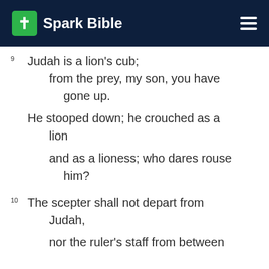Spark Bible
9 Judah is a lion's cub;
    from the prey, my son, you have
        gone up.
    He stooped down; he crouched as a
        lion
        and as a lioness; who dares rouse
            him?
10 The scepter shall not depart from
    Judah,
    nor the ruler's staff from between